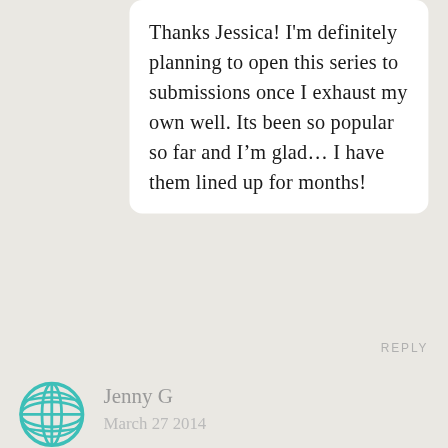Thanks Jessica! I'm definitely planning to open this series to submissions once I exhaust my own well. Its been so popular so far and I'm glad… I have them lined up for months!
REPLY
[Figure (illustration): Teal globe/earth icon used as commenter avatar]
Jenny G
March 27 2014
Thank you for this great interview, I am planning on doing some kind of work like this when I go to Australia this year.

love!
REPLY